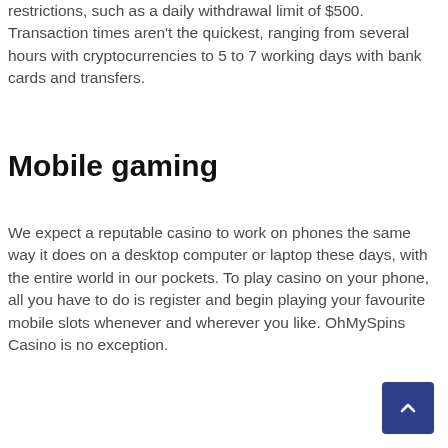restrictions, such as a daily withdrawal limit of $500. Transaction times aren't the quickest, ranging from several hours with cryptocurrencies to 5 to 7 working days with bank cards and transfers.
Mobile gaming
We expect a reputable casino to work on phones the same way it does on a desktop computer or laptop these days, with the entire world in our pockets. To play casino on your phone, all you have to do is register and begin playing your favourite mobile slots whenever and wherever you like. OhMySpins Casino is no exception.